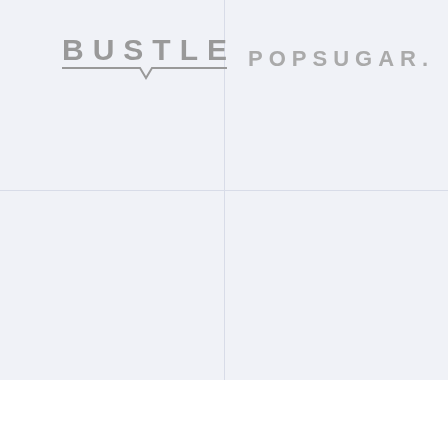[Figure (logo): Bustle logo with underline and speech bubble notch]
[Figure (logo): POPSUGAR. logo in spaced gray letters]